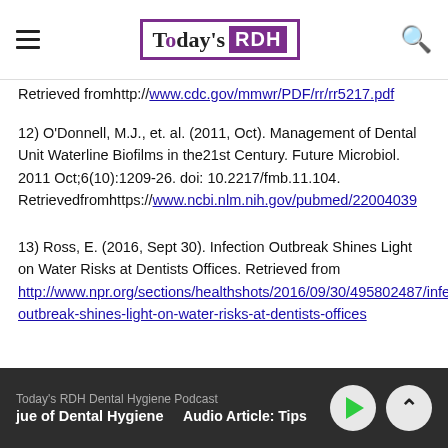Today's RDH
Retrieved fromhttp://www.cdc.gov/mmwr/PDF/rr/rr5217.pdf
12) O'Donnell, M.J., et. al. (2011, Oct). Management of Dental Unit Waterline Biofilms in the21st Century. Future Microbiol. 2011 Oct;6(10):1209-26. doi: 10.2217/fmb.11.104. Retrievedfromhttps://www.ncbi.nlm.nih.gov/pubmed/22004039
13) Ross, E. (2016, Sept 30). Infection Outbreak Shines Light on Water Risks at Dentists Offices. Retrieved from http://www.npr.org/sections/healthshots/2016/09/30/495802487/infection-outbreak-shines-light-on-water-risks-at-dentists-offices
Today's RDH Dental Hygiene Podcast | ue of Dental Hygiene | Audio Article: Tips